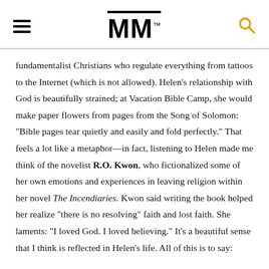MM
fundamentalist Christians who regulate everything from tattoos to the Internet (which is not allowed). Helen’s relationship with God is beautifully strained; at Vacation Bible Camp, she would make paper flowers from pages from the Song of Solomon: “Bible pages tear quietly and easily and fold perfectly.” That feels a lot like a metaphor—in fact, listening to Helen made me think of the novelist R.O. Kwon, who fictionalized some of her own emotions and experiences in leaving religion within her novel The Incendiaries. Kwon said writing the book helped her realize “there is no resolving” faith and lost faith. She laments: “I loved God. I loved believing.” It’s a beautiful sense that I think is reflected in Helen’s life. All of this is to say: